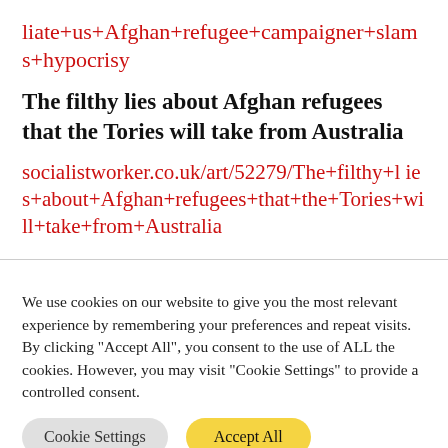liate+us+Afghan+refugee+campaigner+slams+hypocrisy
The filthy lies about Afghan refugees that the Tories will take from Australia
socialistworker.co.uk/art/52279/The+filthy+lies+about+Afghan+refugees+that+the+Tories+will+take+from+Australia
We use cookies on our website to give you the most relevant experience by remembering your preferences and repeat visits. By clicking "Accept All", you consent to the use of ALL the cookies. However, you may visit "Cookie Settings" to provide a controlled consent.